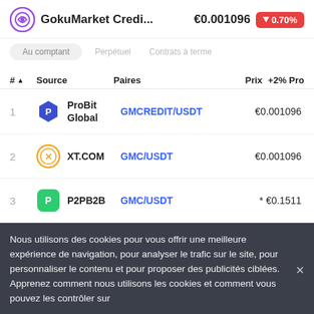GokuMarket Credi... €0.001096 ▼0.70%
Au comptant  Perpétuel  Contrats à terme
| # | Source | Paires | Prix | +2% Pro |
| --- | --- | --- | --- | --- |
| 1 | ProBit Global | GMCREDIT/USDT | €0.001096 |  |
| 2 | XT.COM | GMC/USDT | €0.001096 |  |
| 3 | P2PB2B | GMC/USDT | * €0.1511 |  |
Nous utilisons des cookies pour vous offrir une meilleure expérience de navigation, pour analyser le trafic sur le site, pour personnaliser le contenu et pour proposer des publicités ciblées. Apprenez comment nous utilisons les cookies et comment vous pouvez les contrôler sur
Utiliser CoinMarketCap App
Avoir une meilleure et plus complète expérience de l'utilisateur